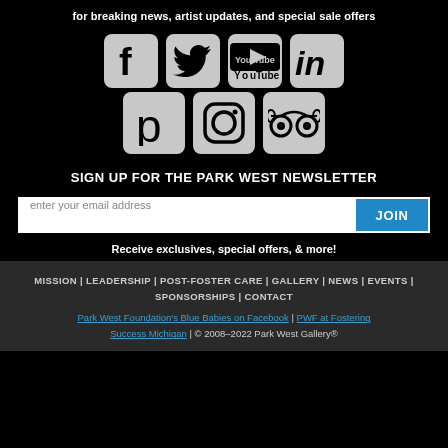for breaking news, artist updates, and special sale offers
[Figure (illustration): Seven social media icons in rounded-rectangle tiles: Facebook, Twitter, YouTube, LinkedIn (top row), Pinterest, Instagram, TripAdvisor (bottom row)]
SIGN UP FOR THE PARK WEST NEWSLETTER
enter your email address [JOIN button]
Receive exclusives, special offers, & more!
MISSION | LEADERSHIP | POST-FOSTER CARE | GALLERY | NEWS | EVENTS | SPONSORSHIPS | CONTACT
Park West Foundation's Blue Babies on Facebook | PWF at Fostering Success Michigan | © 2008–2022 Park West Gallery®